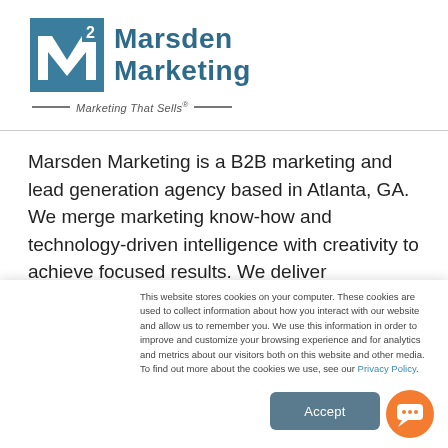[Figure (logo): Marsden Marketing logo with M-squared icon in teal/blue color, company name 'Marsden Marketing' in teal, tagline 'Marketing That Sells®' with decorative lines]
Marsden Marketing is a B2B marketing and lead generation agency based in Atlanta, GA. We merge marketing know-how and technology-driven intelligence with creativity to achieve focused results. We deliver
This website stores cookies on your computer. These cookies are used to collect information about how you interact with our website and allow us to remember you. We use this information in order to improve and customize your browsing experience and for analytics and metrics about our visitors both on this website and other media. To find out more about the cookies we use, see our Privacy Policy.